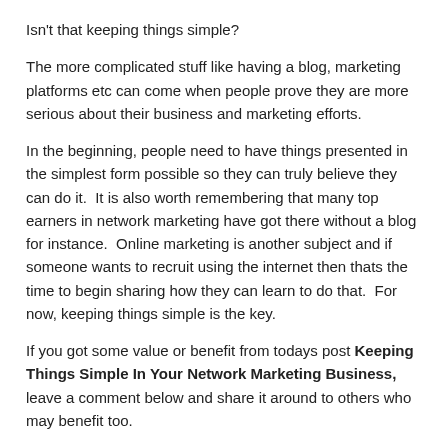Isn't that keeping things simple?
The more complicated stuff like having a blog, marketing platforms etc can come when people prove they are more serious about their business and marketing efforts.
In the beginning, people need to have things presented in the simplest form possible so they can truly believe they can do it. It is also worth remembering that many top earners in network marketing have got there without a blog for instance. Online marketing is another subject and if someone wants to recruit using the internet then thats the time to begin sharing how they can learn to do that. For now, keeping things simple is the key.
If you got some value or benefit from todays post Keeping Things Simple In Your Network Marketing Business, leave a comment below and share it around to others who may benefit too.
[Figure (illustration): Handwritten cursive signature in purple/magenta ink reading 'Les b Kenny']